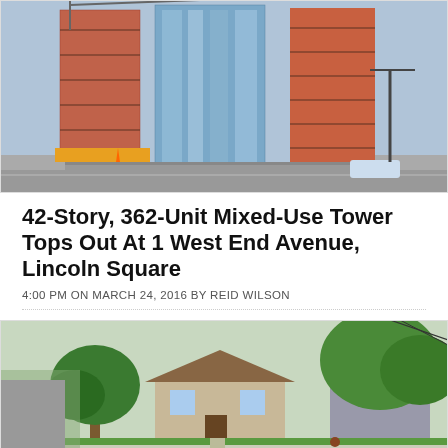[Figure (photo): Construction photo showing two tall skyscrapers under construction with red brick/orange scaffolding, and a completed glass tower in between, street level view, NYC]
42-Story, 362-Unit Mixed-Use Tower Tops Out At 1 West End Avenue, Lincoln Square
4:00 PM ON MARCH 24, 2016 BY REID WILSON
[Figure (photo): Street view of a modest two-story house with green trees and lawn, residential neighborhood, suburban setting]
Two Three-Story, Two-Family Houses Planned At 47 Atlantic Avenue, Dongan Hills, Staten Island